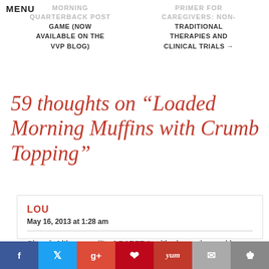MENU
← MORNING QUARTERBACK POST GAME (NOW AVAILABLE ON THE VVP BLOG)   PRIMER FOR CAREGIVERS: NON-TRADITIONAL THERAPIES AND CLINICAL TRIALS →
59 thoughts on “Loaded Morning Muffins with Crumb Topping”
LOU
May 16, 2013 at 1:28 am
Oh yeah, I like my muffins LOADED just like these... the crumble topping sounds incredible!
Reply ↓